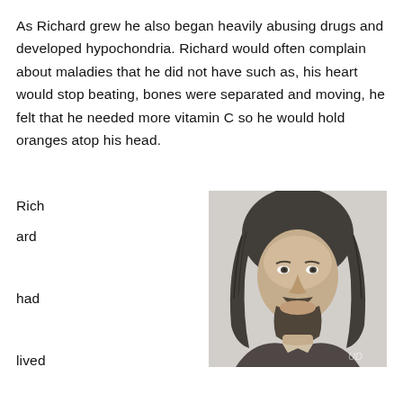As Richard grew he also began heavily abusing drugs and developed hypochondria. Richard would often complain about maladies that he did not have such as, his heart would stop beating, bones were separated and moving, he felt that he needed more vitamin C so he would hold oranges atop his head.
Richard had lived with his mother, but felt she was poisoning him, so he moved out and rented an apartment with friends. Richard was reported to be constantly
[Figure (photo): Black and white photograph of a young man with long hair, mustache and beard, looking slightly to his right. A watermark 'UD' appears in the lower right corner.]